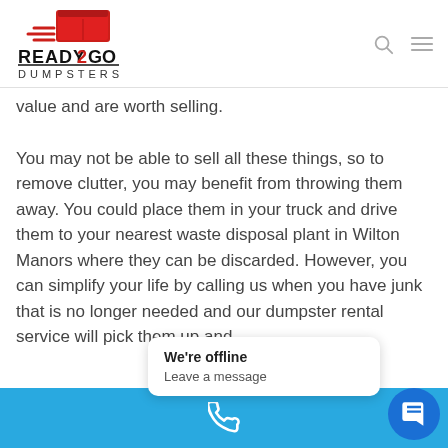READY2GO DUMPSTERS
value and are worth selling.
You may not be able to sell all these things, so to remove clutter, you may benefit from throwing them away. You could place them in your truck and drive them to your nearest waste disposal plant in Wilton Manors where they can be discarded. However, you can simplify your life by calling us when you have junk that is no longer needed and our dumpster rental service will pick them up and
We're offline
Leave a message